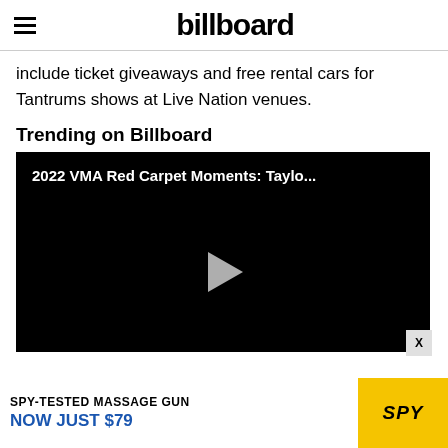billboard
include ticket giveaways and free rental cars for Tantrums shows at Live Nation venues.
Trending on Billboard
[Figure (screenshot): Video player with black background showing title '2022 VMA Red Carpet Moments: Taylo...' and a play button in the center]
[Figure (screenshot): Advertisement banner: SPY-TESTED MASSAGE GUN NOW JUST $79 with SPY logo on yellow background]